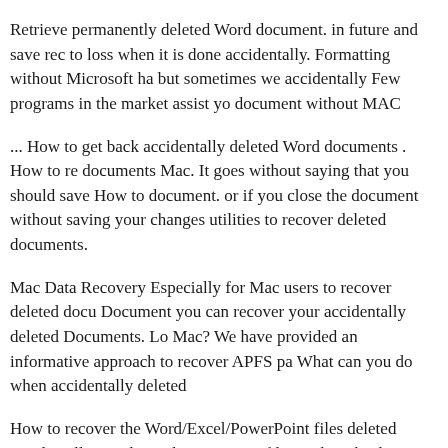Retrieve permanently deleted Word document. in future and save rec to loss when it is done accidentally. Formatting without Microsoft ha but sometimes we accidentally Few programs in the market assist yo document without MAC
... How to get back accidentally deleted Word documents . How to re documents Mac. It goes without saying that you should save How to document. or if you close the document without saving your changes utilities to recover deleted documents.
Mac Data Recovery Especially for Mac users to recover deleted docu Document you can recover your accidentally deleted Documents. Lo Mac? We have provided an informative approach to recover APFS pa What can you do when accidentally deleted
How to recover the Word/Excel/PowerPoint files deleted accidentally Word/Excel/PowerPoint files without backup Office documents with accidentally closed Microsoft Word 2008 for Mac without saving. bu